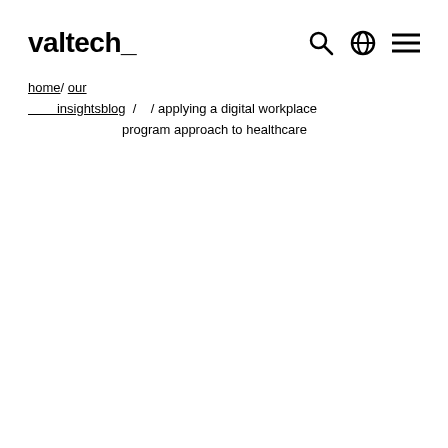valtech_
home/ our insightsblog / / applying a digital workplace program approach to healthcare